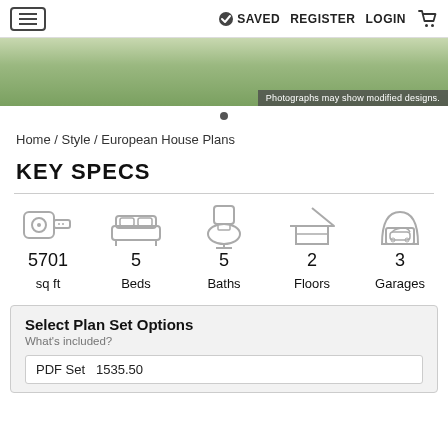☰   ✔ SAVED   REGISTER   LOGIN   🛒
[Figure (photo): Hero image of a house with green landscaping. Overlay text: 'Photographs may show modified designs.']
Home / Style / European House Plans
KEY SPECS
[Figure (infographic): Key specs icons and values: 5701 sq ft, 5 Beds, 5 Baths, 2 Floors, 3 Garages]
Select Plan Set Options
What's included?
PDF Set  1535.50